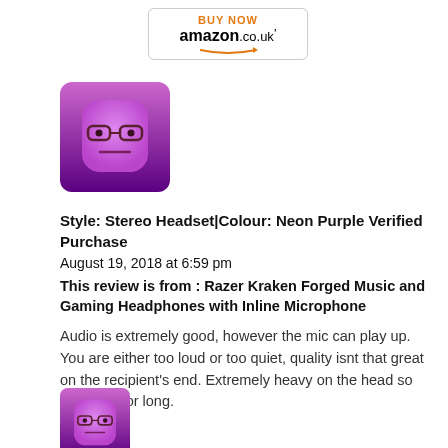[Figure (logo): Amazon Buy Now button with orange BUY NOW text and amazon.co.uk logo with arrow]
[Figure (illustration): Purple cartoon character avatar with glasses on gradient background]
Style: Stereo Headset|Colour: Neon Purple Verified Purchase
August 19, 2018 at 6:59 pm
This review is from : Razer Kraken Forged Music and Gaming Headphones with Inline Microphone
Audio is extremely good, however the mic can play up. You are either too loud or too quiet, quality isnt that great on the recipient's end. Extremely heavy on the head so can't use for long.
[Figure (illustration): Purple cartoon character avatar with glasses on gradient background (partial, bottom of page)]